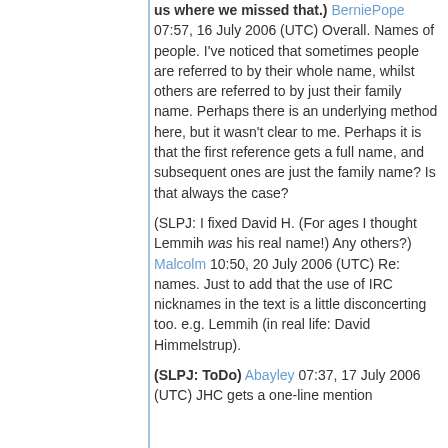us where we missed that.) BerniePope 07:57, 16 July 2006 (UTC) Overall. Names of people. I've noticed that sometimes people are referred to by their whole name, whilst others are referred to by just their family name. Perhaps there is an underlying method here, but it wasn't clear to me. Perhaps it is that the first reference gets a full name, and subsequent ones are just the family name? Is that always the case?
(SLPJ: I fixed David H. (For ages I thought Lemmih was his real name!) Any others?) Malcolm 10:50, 20 July 2006 (UTC) Re: names. Just to add that the use of IRC nicknames in the text is a little disconcerting too. e.g. Lemmih (in real life: David Himmelstrup).
(SLPJ: ToDo) Abayley 07:37, 17 July 2006 (UTC) JHC gets a one-line mention